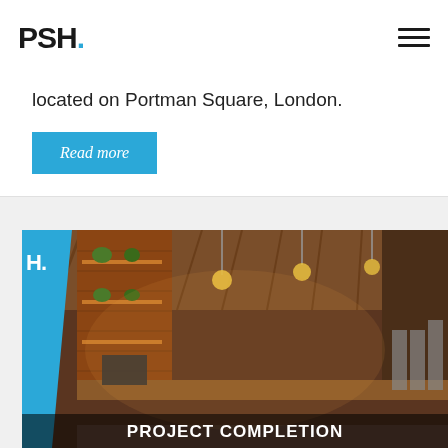PSH.
located on Portman Square, London.
Read more
[Figure (photo): Interior photograph of a bar/restaurant with rustic wooden ceiling, brick walls, metal shelving with plants, pendant lights, and a long bar counter. Blue PSH. logo overlay on the left side. Text 'PROJECT COMPLETION' appears at the bottom.]